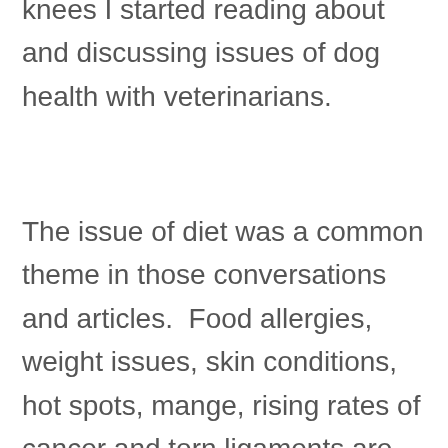knees I started reading about and discussing issues of dog health with veterinarians.
The issue of diet was a common theme in those conversations and articles.  Food allergies, weight issues, skin conditions, hot spots, mange, rising rates of cancer and torn ligaments are just a few unhealthy conditions caused by diet made up exclusively of dry kibble.  A diet solely made up of dry kibble, even premium high priced dry kibble, contributed to Lola's leg injuries